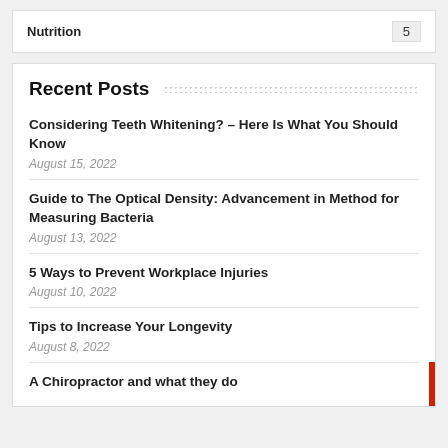Nutrition 5
Recent Posts
Considering Teeth Whitening? – Here Is What You Should Know
August 15, 2022
Guide to The Optical Density: Advancement in Method for Measuring Bacteria
August 13, 2022
5 Ways to Prevent Workplace Injuries
August 10, 2022
Tips to Increase Your Longevity
August 8, 2022
A Chiropractor and what they do